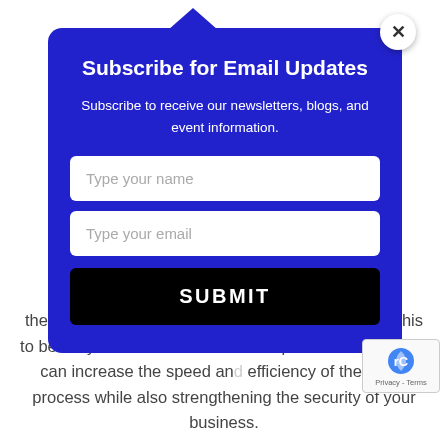Subscribe for Email Updates
Subscribe to receive our newsletters, blogs, and event information.
Type your name
Type your email
SUBMIT
the traditional method, but we have already shown this to be risky and tedious. With the help of technology, you can increase the speed and efficiency of the entire process while also strengthening the security of your business.